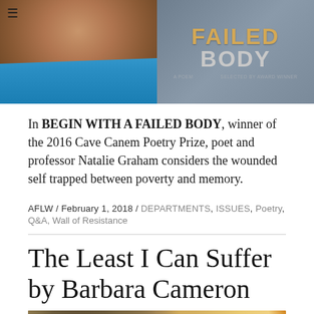[Figure (photo): Two photos side by side: left shows a portrait of a woman in a blue shirt, right shows a book cover reading 'FAILED BODY']
In BEGIN WITH A FAILED BODY, winner of the 2016 Cave Canem Poetry Prize, poet and professor Natalie Graham considers the wounded self trapped between poverty and memory.
AFLW / February 1, 2018 / DEPARTMENTS, ISSUES, Poetry, Q&A, Wall of Resistance
The Least I Can Suffer by Barbara Cameron
[Figure (photo): Colorful artistic image showing figures and circular objects with a warm orange and golden color palette]